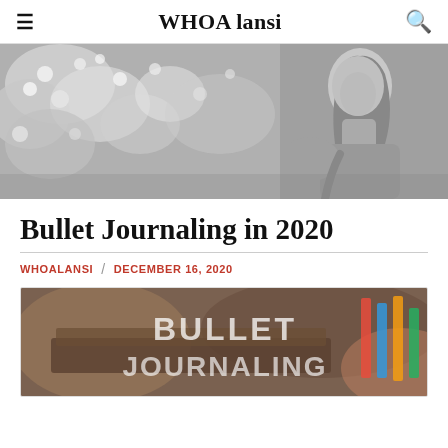≡   WHOA lansi   🔍
[Figure (photo): Black and white photo of a woman sitting outdoors among flowers, looking down and writing or reading]
Bullet Journaling in 2020
WHOALANSI / DECEMBER 16, 2020
[Figure (photo): Color photo of bullet journaling supplies with large text overlay reading BULLET JOURNALING]